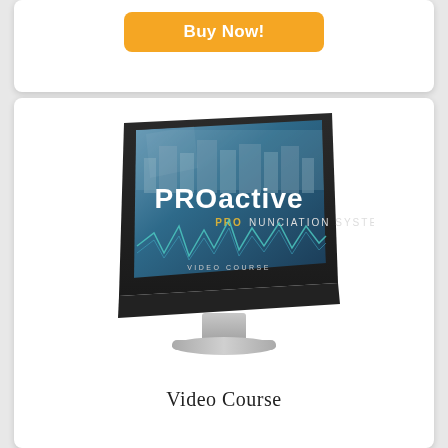Buy Now!
[Figure (illustration): iMac-style desktop monitor displaying the PROactive PROnunciation System Video Course splash screen with blue background, city skyline silhouette, white sans-serif text 'PROactive', yellow text 'PROnunciation SYSTEM', and 'VIDEO COURSE' text below.]
Video Course